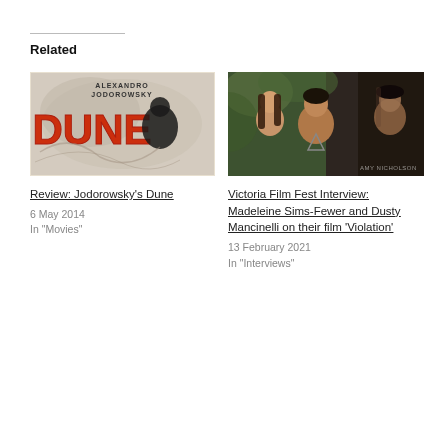Related
[Figure (photo): Movie poster for Jodorowsky's Dune featuring comic-style artwork with red DUNE text and black figures]
Review: Jodorowsky's Dune
6 May 2014
In "Movies"
[Figure (photo): Photo of filmmakers Madeleine Sims-Fewer and Dusty Mancinelli, with a third figure in background]
Victoria Film Fest Interview: Madeleine Sims-Fewer and Dusty Mancinelli on their film 'Violation'
13 February 2021
In "Interviews"